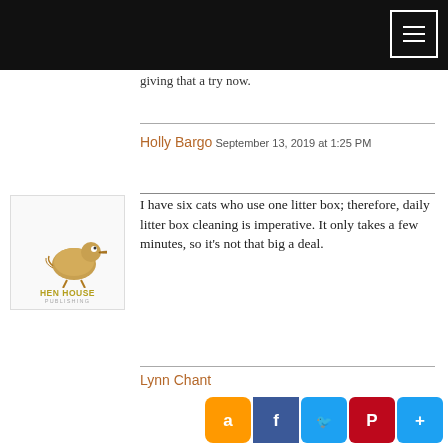[navigation header bar with menu button]
giving that a try now.
Holly Bargo September 13, 2019 at 1:25 PM
[Figure (logo): Hen House Publishing logo: stylized bird illustration with text HEN HOUSE PUBLISHING]
I have six cats who use one litter box; therefore, daily litter box cleaning is imperative. It only takes a few minutes, so it’s not that big a deal.
Lynn Chan[t] S[eptember] [2019]
[Figure (infographic): Social media share buttons: Amazon, Facebook, Twitter, Pinterest, More]